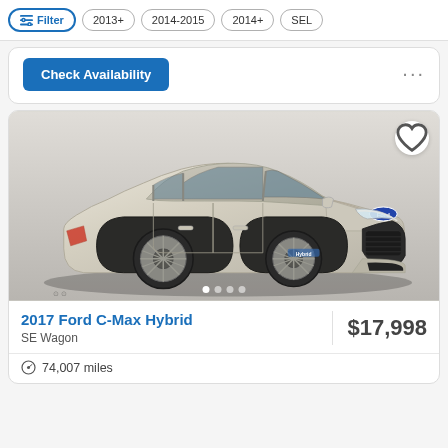Filter | 2013+ | 2014-2015 | 2014+ | SEL
Check Availability
[Figure (photo): Photo of a 2017 Ford C-Max Hybrid in champagne/gold color, shown in a studio setting on a dark floor, front three-quarter view. Navigation dots at the bottom indicate multiple images.]
2017 Ford C-Max Hybrid
$17,998
SE Wagon
74,007 miles